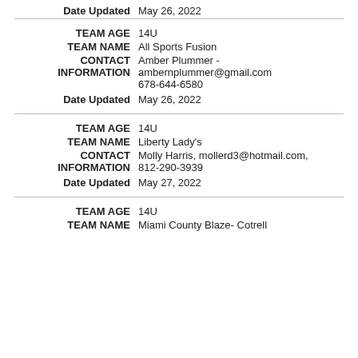Date Updated  May 26, 2022
TEAM AGE  14U
TEAM NAME  All Sports Fusion
CONTACT INFORMATION  Amber Plummer - ambernplummer@gmail.com 678-644-6580
Date Updated  May 26, 2022
TEAM AGE  14U
TEAM NAME  Liberty Lady's
CONTACT INFORMATION  Molly Harris, mollerd3@hotmail.com, 812-290-3939
Date Updated  May 27, 2022
TEAM AGE  14U
TEAM NAME  Miami County Blaze- Cotrell